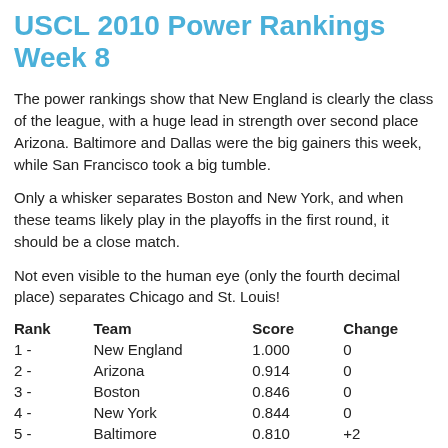USCL 2010 Power Rankings Week 8
The power rankings show that New England is clearly the class of the league, with a huge lead in strength over second place Arizona. Baltimore and Dallas were the big gainers this week, while San Francisco took a big tumble.
Only a whisker separates Boston and New York, and when these teams likely play in the playoffs in the first round, it should be a close match.
Not even visible to the human eye (only the fourth decimal place) separates Chicago and St. Louis!
| Rank | Team | Score | Change |
| --- | --- | --- | --- |
| 1 - | New England | 1.000 | 0 |
| 2 - | Arizona | 0.914 | 0 |
| 3 - | Boston | 0.846 | 0 |
| 4 - | New York | 0.844 | 0 |
| 5 - | Baltimore | 0.810 | +2 |
| 6 - | Chicago | 0.799 | 0 |
| 7 - | St. Louis | 0.799 | +1 |